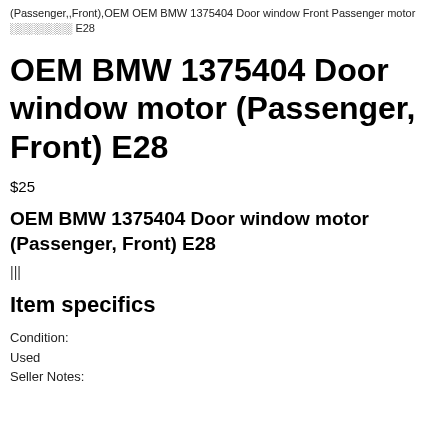(Passenger,,Front),OEM OEM BMW 1375404 Door window Front Passenger motor ░░░░░░░░ E28
OEM BMW 1375404 Door window motor (Passenger, Front) E28
$25
OEM BMW 1375404 Door window motor (Passenger, Front) E28
|||
Item specifics
Condition:
Used
Seller Notes: